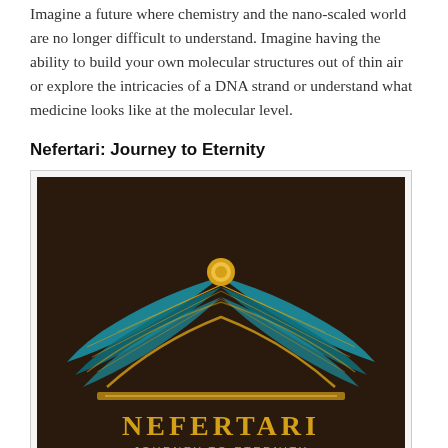Imagine a future where chemistry and the nano-scaled world are no longer difficult to understand. Imagine having the ability to build your own molecular structures out of thin air or explore the intricacies of a DNA strand or understand what medicine looks like at the molecular level.
Nefertari: Journey to Eternity
[Figure (illustration): Logo/title card for 'Nefertari: Journey to Eternity — A Tombscale VR Experience'. Dark brown background with Egyptian-styled winged motif in teal and gold colors. Text reads NEFERTARI in large gold letters, below: JOURNEY TO ETERNITY, A TOMBSCALE VR EXPERIENCE.]
In Egypt's legendary Valley of the Queens, lies Queen Nefertari's tomb, one of the modern world's most detailed windows into ancient Egyptians' journey towards the afterlife. Now, state-of-the-art technology has made it possible to digitally scan Nerfertari's tomb with millimeter